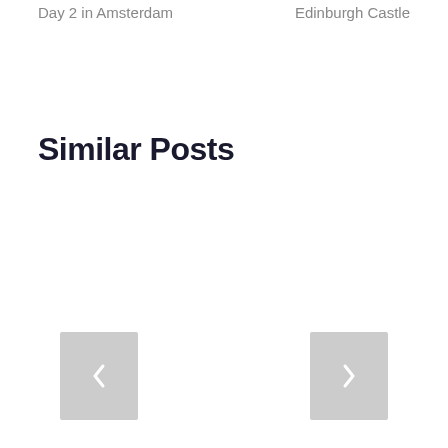Day 2 in Amsterdam
Edinburgh Castle
Similar Posts
[Figure (other): Previous navigation button (left chevron) and next navigation button (right chevron) for a carousel]